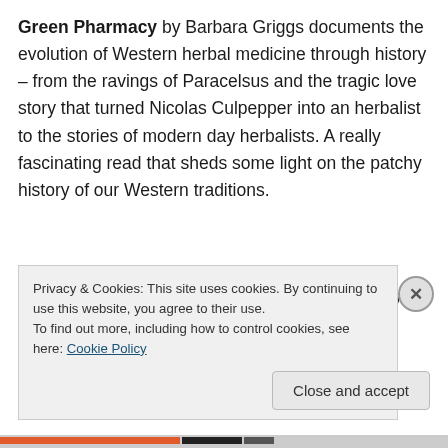Green Pharmacy by Barbara Griggs documents the evolution of Western herbal medicine through history – from the ravings of Paracelsus and the tragic love story that turned Nicolas Culpepper into an herbalist to the stories of modern day herbalists. A really fascinating read that sheds some light on the patchy history of our Western traditions.
So, I know I've nearly written a book on herbal books – but
Privacy & Cookies: This site uses cookies. By continuing to use this website, you agree to their use.
To find out more, including how to control cookies, see here: Cookie Policy